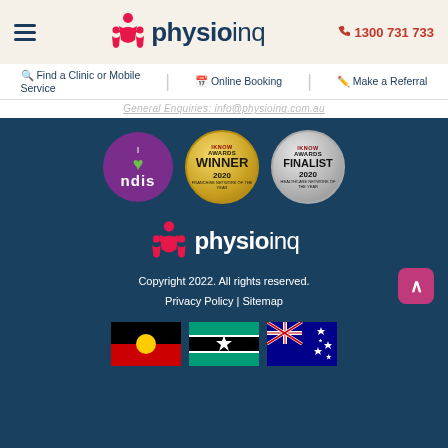physioinq | 1300 731 733
Find a Clinic or Mobile Service | Online Booking | Make a Referral
General Enquiries: info@physioinq.com.au
[Figure (logo): I love NDIS purple badge, iknow Awards Winner 2020 gold badge, iknow Awards Finalist 2020 silver badge]
[Figure (logo): physioinq logo in white on dark blue background]
Copyright 2022. All rights reserved.
Privacy Policy | Sitemap
[Figure (illustration): Three flags: Aboriginal Australian flag, Torres Strait Islander flag, Australian national flag]